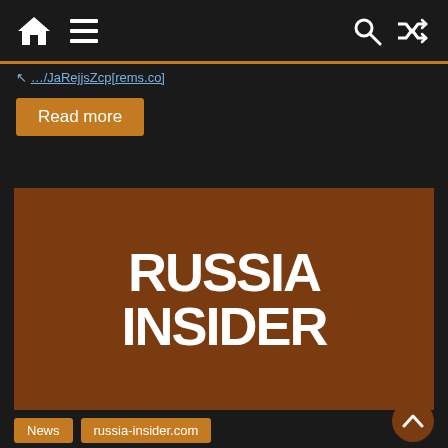Navigation bar with home, menu, search, and shuffle icons
…/JaRejjsZcp[rems.co]
Read more
[Figure (logo): Russia Insider logo: white bold text 'RUSSIA INSIDER' on a brown/rust colored background]
News   russia-insider.com
US Anti-Immigration Website